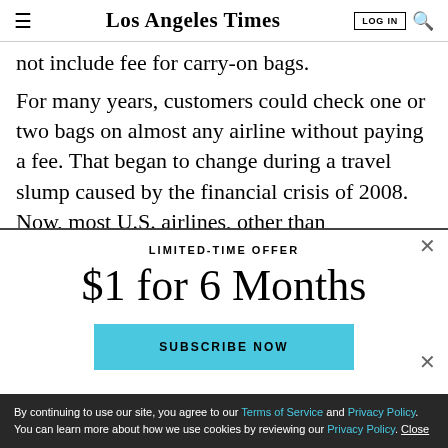Los Angeles Times — LOG IN [search icon]
not include fee for carry-on bags.
For many years, customers could check one or two bags on almost any airline without paying a fee. That began to change during a travel slump caused by the financial crisis of 2008. Now, most U.S. airlines, other than
LIMITED-TIME OFFER
$1 for 6 Months
SUBSCRIBE NOW
By continuing to use our site, you agree to our Terms of Service and Privacy Policy. You can learn more about how we use cookies by reviewing our Privacy Policy. Close